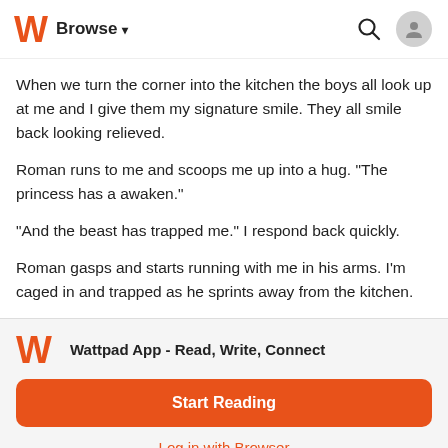Browse
When we turn the corner into the kitchen the boys all look up at me and I give them my signature smile. They all smile back looking relieved.
Roman runs to me and scoops me up into a hug. "The princess has a awaken."
"And the beast has trapped me." I respond back quickly.
Roman gasps and starts running with me in his arms. I'm caged in and trapped as he sprints away from the kitchen.
Wattpad App - Read, Write, Connect
Start Reading
Log in with Browser